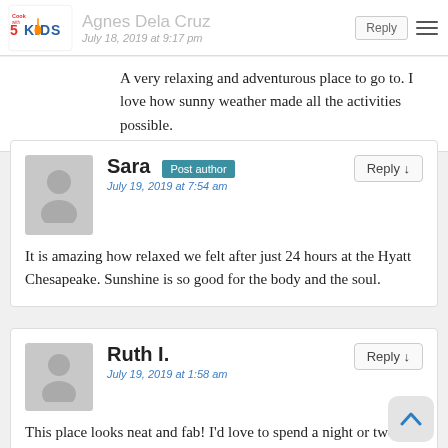Agnes Dela Cruz — July 18, 2019 at 9:17 pm
A very relaxing and adventurous place to go to. I love how sunny weather made all the activities possible.
Sara — Post author — July 19, 2019 at 7:54 am — It is amazing how relaxed we felt after just 24 hours at the Hyatt Chesapeake. Sunshine is so good for the body and the soul.
Ruth I. — July 19, 2019 at 1:58 am — This place looks neat and fab! I'd love to spend a night or two in here. There are lots of activities to do.